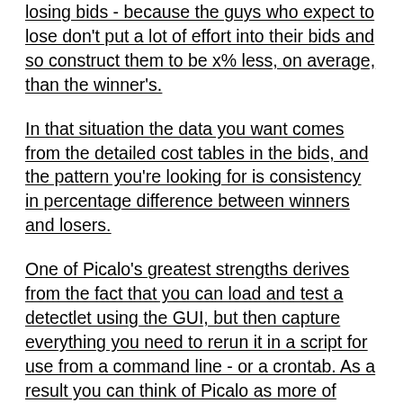losing bids - because the guys who expect to lose don't put a lot of effort into their bids and so construct them to be x% less, on average, than the winner's.
In that situation the data you want comes from the detailed cost tables in the bids, and the pattern you're looking for is consistency in percentage difference between winners and losers.
One of Picalo's greatest strengths derives from the fact that you can load and test a detectlet using the GUI, but then capture everything you need to rerun it in a script for use from a command line - or a crontab. As a result you can think of Picalo as more of debugging environment for detectlets than a